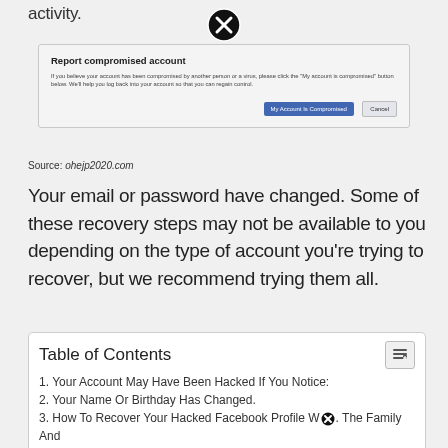activity.
[Figure (other): Close/X button icon (black circle with X)]
[Figure (screenshot): Facebook 'Report compromised account' dialog box with title, body text explaining to click 'My account is compromised' button, and two buttons: 'My Account Is Compromised' (blue) and 'Cancel']
Source: ohejp2020.com
Your email or password have changed. Some of these recovery steps may not be available to you depending on the type of account you're trying to recover, but we recommend trying them all.
| Table of Contents |
| --- |
| 1. Your Account May Have Been Hacked If You Notice: |
| 2. Your Name Or Birthday Has Changed. |
| 3. How To Recover Your Hacked Facebook Profile W... The Family And |